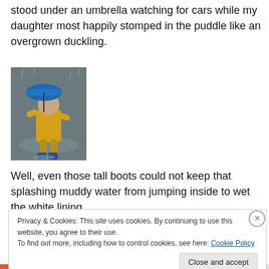stood under an umbrella watching for cars while my daughter most happily stomped in the puddle like an overgrown duckling.
[Figure (photo): A young child in a yellow raincoat and boots holding a blue umbrella, stomping in a puddle on a rainy day.]
Well, even those tall boots could not keep that splashing muddy water from jumping inside to wet the white lining
Privacy & Cookies: This site uses cookies. By continuing to use this website, you agree to their use.
To find out more, including how to control cookies, see here: Cookie Policy
Close and accept